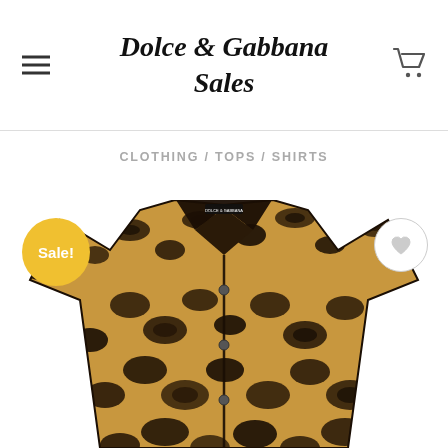Dolce & Gabbana Sales
CLOTHING / TOPS / SHIRTS
[Figure (photo): Leopard print button-up shirt by Dolce & Gabbana with collar and long sleeves, shown from front upper body view]
Sale!